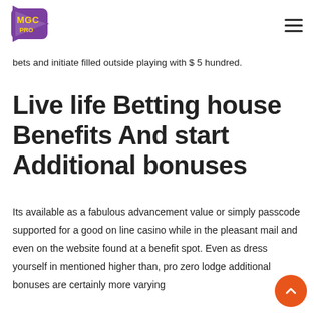MGC PRO logo and hamburger menu
bets and initiate filled outside playing with $ 5 hundred.
Live life Betting house Benefits And start Additional bonuses
Its available as a fabulous advancement value or simply passcode supported for a good on line casino while in the pleasant mail and even on the website found at a benefit spot. Even as dress yourself in mentioned higher than, pro zero lodge additional bonuses are certainly more varying